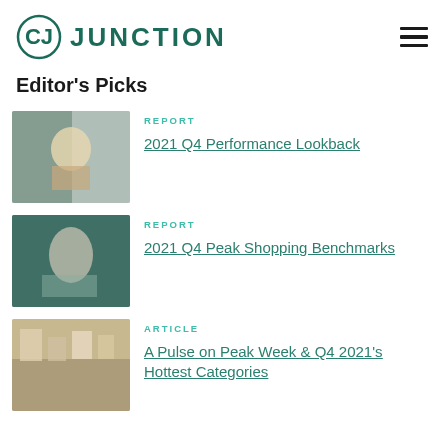CJ JUNCTION
Editor's Picks
REPORT
2021 Q4 Performance Lookback
REPORT
2021 Q4 Peak Shopping Benchmarks
ARTICLE
A Pulse on Peak Week & Q4 2021's Hottest Categories